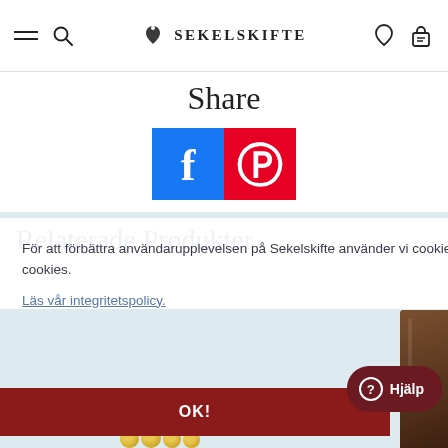Sekelskifte navigation bar with hamburger menu, search, logo, wishlist and basket icons
Share
[Figure (logo): Facebook and Pinterest social sharing icons side by side]
För att förbättra användarupplevelsen på Sekelskifte använder vi cookies. Genom att fortsätta på sidan accepterar du användandet av cookies.
Läs vår integritetspolicy.
OK!